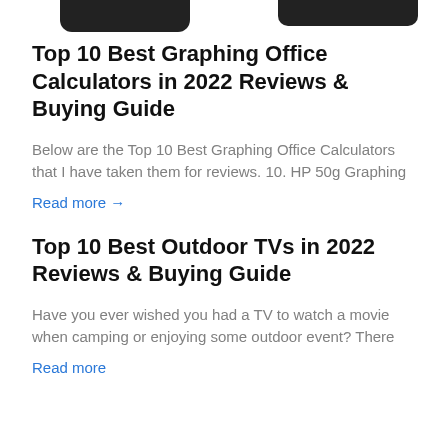[Figure (photo): Partial view of two dark-colored calculators or electronic devices cropped at the top of the page]
Top 10 Best Graphing Office Calculators in 2022 Reviews & Buying Guide
Below are the Top 10 Best Graphing Office Calculators that I have taken them for reviews. 10. HP 50g Graphing
Read more →
Top 10 Best Outdoor TVs in 2022 Reviews & Buying Guide
Have you ever wished you had a TV to watch a movie when camping or enjoying some outdoor event? There
Read more